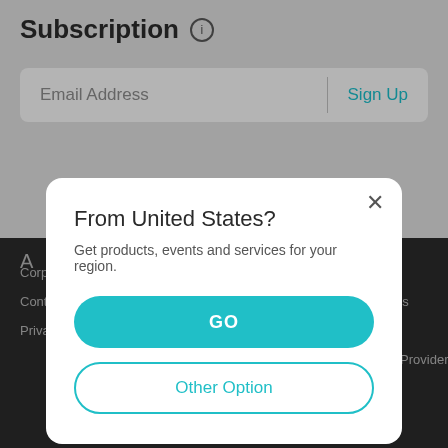Subscription ℹ
Email Address
Sign Up
[Figure (screenshot): Modal dialog overlay on a website page showing region selection prompt]
From United States?
Get products, events and services for your region.
GO
Other Option
Corporate Profile
News
Distributors
Contact Us
Awards
Online Stores
Privacy Policy
Security Advisory
Retailer
Blog
For Service Provider